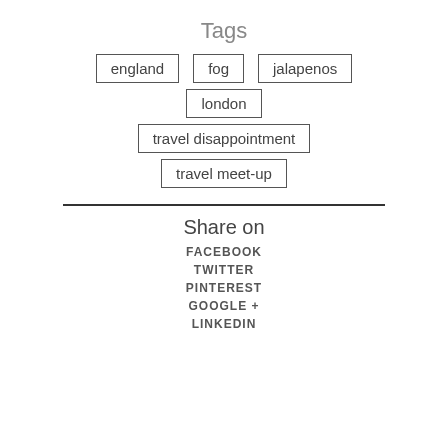Tags
england
fog
jalapenos
london
travel disappointment
travel meet-up
Share on
FACEBOOK
TWITTER
PINTEREST
GOOGLE +
LINKEDIN